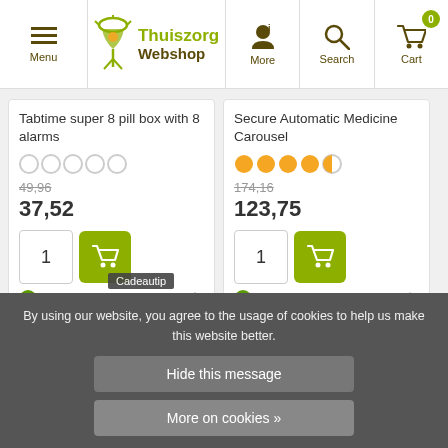Menu | Thuiszorg Webshop | More | Search | Cart 0
Tabtime super 8 pill box with 8 alarms
49,96
37,52
1
In stock
Secure Automatic Medicine Carousel
174,16
123,75
1
In stock
By using our website, you agree to the usage of cookies to help us make this website better.
Hide this message
More on cookies »